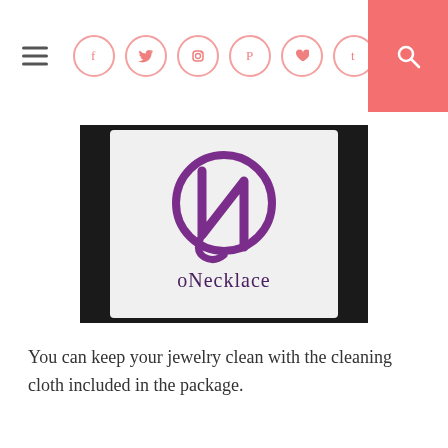Navigation bar with hamburger menu, social icons (Facebook, Twitter, Instagram, Pinterest, Heart, Tumblr), and search button
[Figure (photo): Photo of a white gift bag with the purple oNecklace logo (stylized letter N inside a circle with decorative script)]
You can keep your jewelry clean with the cleaning cloth included in the package.
[Figure (photo): Photo of a light blue/white cleaning cloth with scalloped edges on a wooden surface]